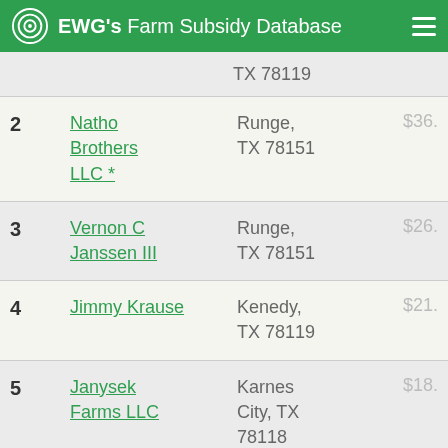EWG's Farm Subsidy Database
| # | Name | Location | Amount |
| --- | --- | --- | --- |
|  |  | TX 78119 |  |
| 2 | Natho Brothers LLC * | Runge, TX 78151 | $36. |
| 3 | Vernon C Janssen III | Runge, TX 78151 | $26. |
| 4 | Jimmy Krause | Kenedy, TX 78119 | $21. |
| 5 | Janysek Farms LLC | Karnes City, TX 78118 | $18. |
| 6 | Archie Wiatrek | San Antonio, | $8. |